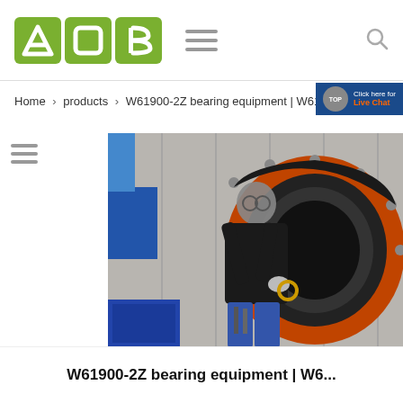[Figure (logo): AOB logo with three green square tiles containing letters A, O, B in white]
[Figure (infographic): Navigation hamburger menu icon (three horizontal lines) and search icon]
[Figure (infographic): Live Chat badge with TOP circle and orange 'Live Chat' text on dark blue background]
Home > products > W61900-2Z bearing equipment | W61900-2Z in Anguilla
[Figure (photo): A worker wearing glasses and dark clothing installs or inspects a large industrial bearing/ring component in a workshop setting. The bearing is orange and black, very large diameter. Blue cabinets and metal wall panels visible in background.]
W61900-2Z bearing equipment | W6...